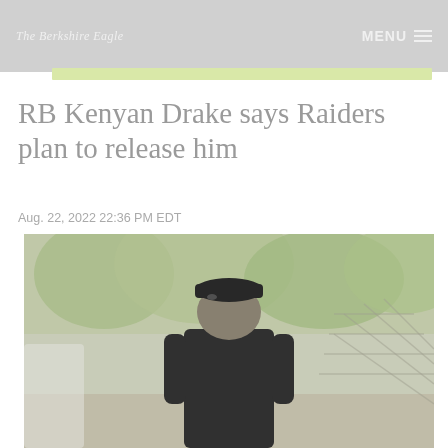The Berkshire Eagle | MENU
RB Kenyan Drake says Raiders plan to release him
Aug. 22, 2022 22:36 PM EDT
[Figure (photo): A man in a dark polo shirt and black cap walking outdoors with green trees in the background]